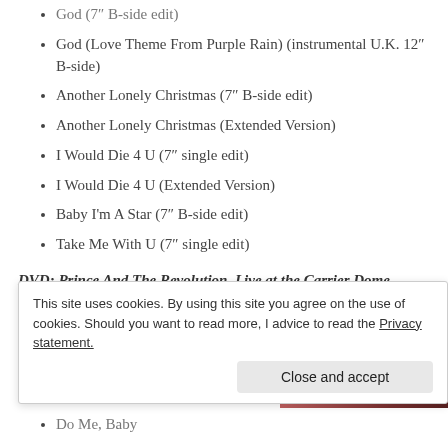God (7″ B-side edit)
God (Love Theme From Purple Rain) (instrumental U.K. 12″ B-side)
Another Lonely Christmas (7″ B-side edit)
Another Lonely Christmas (Extended Version)
I Would Die 4 U (7″ single edit)
I Would Die 4 U (Extended Version)
Baby I'm A Star (7″ B-side edit)
Take Me With U (7″ single edit)
DVD: Prince And The Revolution, Live at the Carrier Dome, Syracuse, NY, March 30, 1985
Let's Go Crazy
Delirious
[Figure (photo): Cover image showing 'Prince and the Revolution' text in cursive over a dark red/purple background]
Do Me, Baby
This site uses cookies. By using this site you agree on the use of cookies. Should you want to read more, I advice to read the Privacy statement. Close and accept